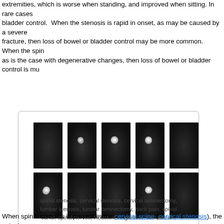extremities, which is worse when standing, and improved when sitting. In rare cases bladder control. When the stenosis is rapid in onset, as may be caused by a severe fracture, then loss of bowel or bladder control may be more common. When the spi as is the case with degenerative changes, then loss of bowel or bladder control is mu
[Figure (photo): Grid of 10 MRI scan cross-section images (2 rows × 5 columns) showing spinal canal cross-sections, displayed in a rounded rectangle box with a keyword caption below.]
spinal stenosis, cervical stenosis, cervical laminectomy, lumbar stenosis, lumbar laminectomy, back pain, spinal canal, spinal nerves, Houston, Sugarland, Woodlands, Katy, Spring, Sealy, Baytown, Pearland, Beaumont, Galleria, Tomball, Conroe, Humble, Kingwood, Port Arthur, Galveston, Memorial City, Texas Medical Center (TMC), Dallas, Fort Worth, San Antonio, Austin
When spinal stenosis is present in the cervical spine (cervical stenosis), the spinal co not only lead to pain, but it may lead to paralysis, due to compression of the spinal